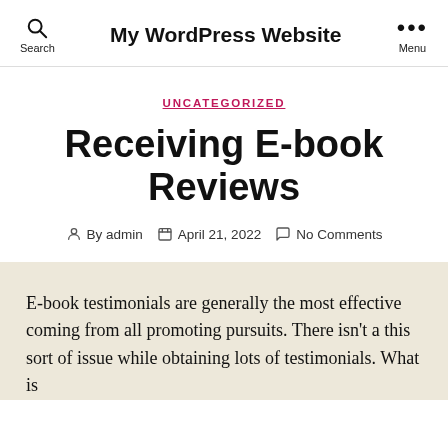My WordPress Website
UNCATEGORIZED
Receiving E-book Reviews
By admin   April 21, 2022   No Comments
E-book testimonials are generally the most effective coming from all promoting pursuits. There isn't a this sort of issue while obtaining lots of testimonials. What is